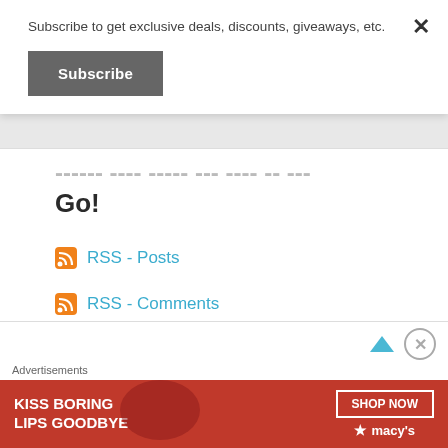Subscribe to get exclusive deals, discounts, giveaways, etc.
Subscribe
Go!
RSS - Posts
RSS - Comments
Advertisements
[Figure (photo): Macy's advertisement banner: KISS BORING LIPS GOODBYE with SHOP NOW button and Macy's star logo]